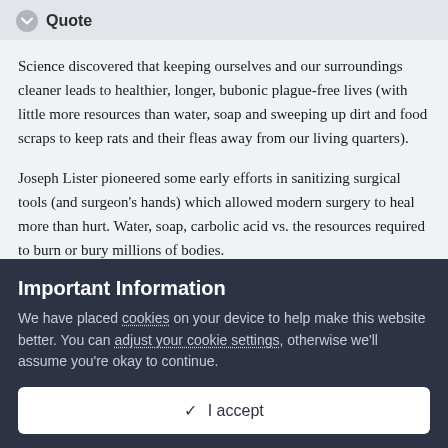Quote
Science discovered that keeping ourselves and our surroundings cleaner leads to healthier, longer, bubonic plague-free lives (with little more resources than water, soap and sweeping up dirt and food scraps to keep rats and their fleas away from our living quarters).
Joseph Lister pioneered some early efforts in sanitizing surgical tools (and surgeon's hands) which allowed modern surgery to heal more than hurt. Water, soap, carbolic acid vs. the resources required to burn or bury millions of bodies.
Important Information
We have placed cookies on your device to help make this website better. You can adjust your cookie settings, otherwise we'll assume you're okay to continue.
✓  I accept